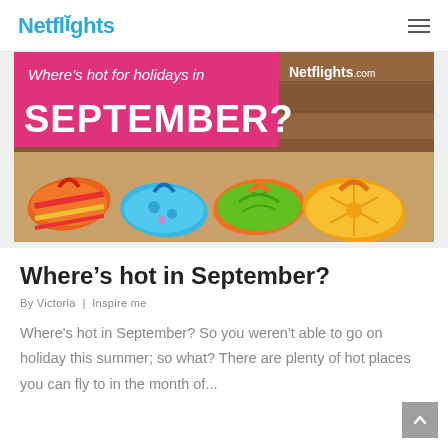Netflights
[Figure (photo): Colorful flip-flops/sandals on a wooden background with text overlay 'Where's hot for holidays in SEPTEMBER?' and Netflights.com logo in top right corner.]
Where’s hot in September?
By Victoria | Inspire me
Where's hot in September? So you weren't able to go on holiday this summer; so what? There are plenty of hot places you can fly to in the month of...